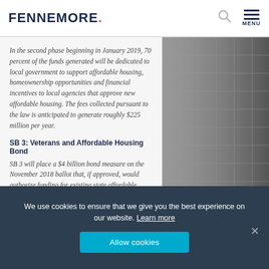FENNEMORE.
In the second phase beginning in January 2019, 70 percent of the funds generated will be dedicated to local government to support affordable housing, homeownership opportunities and financial incentives to local agencies that approve new affordable housing. The fees collected pursuant to the law is anticipated to generate roughly $225 million per year.
SB 3: Veterans and Affordable Housing Bond
SB 3 will place a $4 billion bond measure on the November 2018 ballot that, if approved, would authorize funding for existing state affordable housing programs and infill infrastructure financing
We use cookies to ensure that we give you the best experience on our website. Learn more